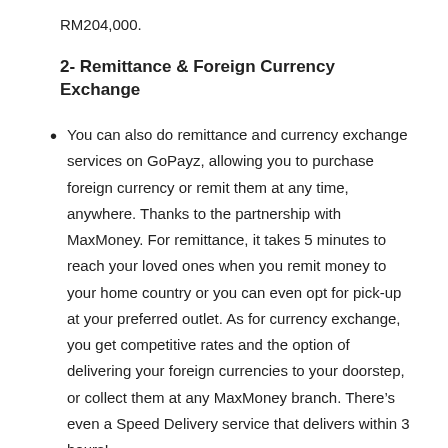RM204,000.
2- Remittance & Foreign Currency Exchange
You can also do remittance and currency exchange services on GoPayz, allowing you to purchase foreign currency or remit them at any time, anywhere. Thanks to the partnership with MaxMoney. For remittance, it takes 5 minutes to reach your loved ones when you remit money to your home country or you can even opt for pick-up at your preferred outlet. As for currency exchange, you get competitive rates and the option of delivering your foreign currencies to your doorstep, or collect them at any MaxMoney branch. There’s even a Speed Delivery service that delivers within 3 hours!
3- Investments are easy to make as GoPayz allows